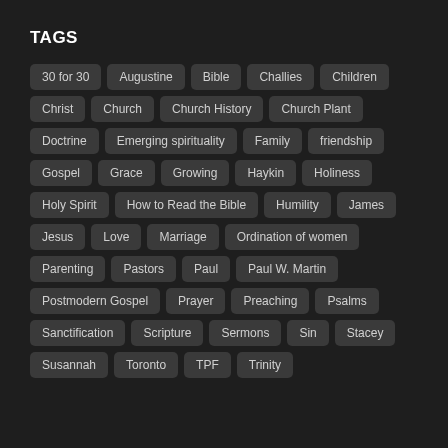TAGS
30 for 30
Augustine
Bible
Challies
Children
Christ
Church
Church History
Church Plant
Doctrine
Emerging spirituality
Family
friendship
Gospel
Grace
Growing
Haykin
Holiness
Holy Spirit
How to Read the Bible
Humility
James
Jesus
Love
Marriage
Ordination of women
Parenting
Pastors
Paul
Paul W. Martin
Postmodern Gospel
Prayer
Preaching
Psalms
Sanctification
Scripture
Sermons
Sin
Stacey
Susannah
Toronto
TPF
Trinity